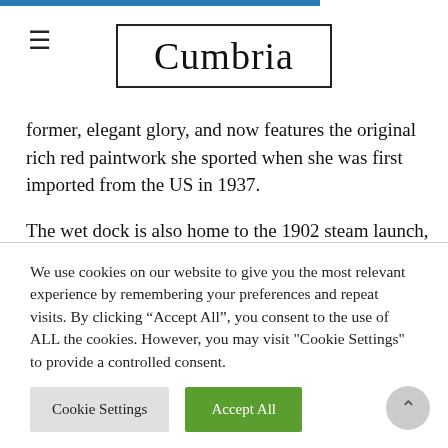Cumbria
former, elegant glory, and now features the original rich red paintwork she sported when she was first imported from the US in 1937.
The wet dock is also home to the 1902 steam launch, Osprey, the first boat in the restored collection to take museum visitors on cruises. Tickets can be booked for a 45-minute ‘heritage boat trip’ that heads
We use cookies on our website to give you the most relevant experience by remembering your preferences and repeat visits. By clicking “Accept All”, you consent to the use of ALL the cookies. However, you may visit "Cookie Settings" to provide a controlled consent.